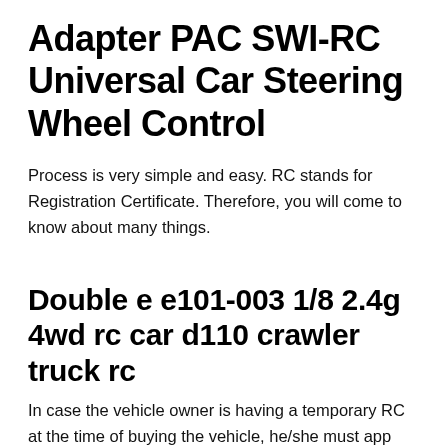Adapter PAC SWI-RC Universal Car Steering Wheel Control
Process is very simple and easy. RC stands for Registration Certificate. Therefore, you will come to know about many things.
Double e e101-003 1/8 2.4g 4wd rc car d110 crawler truck rc
In case the vehicle owner is having a temporary RC at the time of buying the vehicle, he/she must app Guide and steps to apply online for Change of